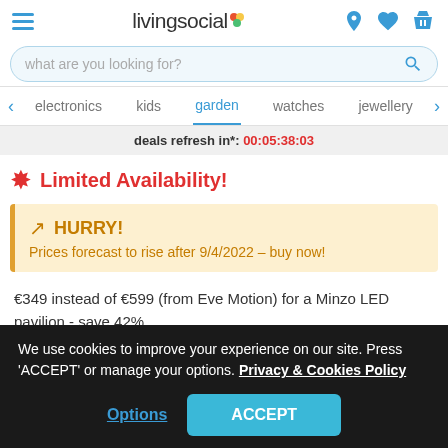livingsocial
what are you looking for?
electronics  kids  garden  watches  jewellery
deals refresh in*: 00:05:38:03
Limited Availability!
HURRY! Prices forecast to rise after 9/4/2022 – buy now!
€349 instead of €599 (from Eve Motion) for a Minzo LED pavilion - save 42%
We use cookies to improve your experience on our site. Press 'ACCEPT' or manage your options. Privacy & Cookies Policy
Options  ACCEPT